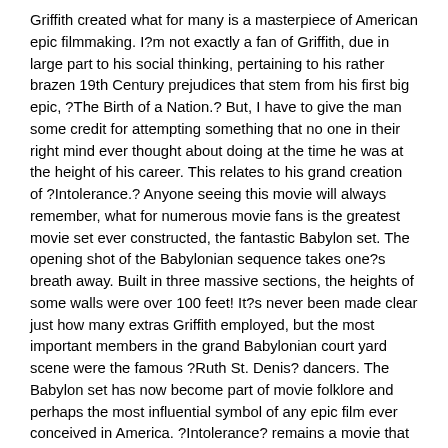Griffith created what for many is a masterpiece of American epic filmmaking. I?m not exactly a fan of Griffith, due in large part to his social thinking, pertaining to his rather brazen 19th Century prejudices that stem from his first big epic, ?The Birth of a Nation.? But, I have to give the man some credit for attempting something that no one in their right mind ever thought about doing at the time he was at the height of his career. This relates to his grand creation of ?Intolerance.? Anyone seeing this movie will always remember, what for numerous movie fans is the greatest movie set ever constructed, the fantastic Babylon set. The opening shot of the Babylonian sequence takes one?s breath away. Built in three massive sections, the heights of some walls were over 100 feet! It?s never been made clear just how many extras Griffith employed, but the most important members in the grand Babylonian court yard scene were the famous ?Ruth St. Denis? dancers. The Babylon set has now become part of movie folklore and perhaps the most influential symbol of any epic film ever conceived in America. ?Intolerance? remains a movie that is on most film buffs list of ones to have to watch!*
*3. Itt was in 1921, an apprentice of D.W. Griffith began to make his mark in the movie business as a director. He was later to be considered a mad, lost genius of early American filmmaking. He was Erich von